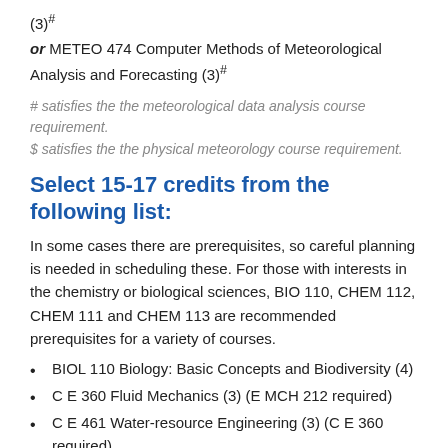(3)#
or METEO 474 Computer Methods of Meteorological Analysis and Forecasting (3)#
# satisfies the the meteorological data analysis course requirement.
$ satisfies the the physical meteorology course requirement.
Select 15-17 credits from the following list:
In some cases there are prerequisites, so careful planning is needed in scheduling these. For those with interests in the chemistry or biological sciences, BIO 110, CHEM 112, CHEM 111 and CHEM 113 are recommended prerequisites for a variety of courses.
BIOL 110 Biology: Basic Concepts and Biodiversity (4)
C E 360 Fluid Mechanics (3) (E MCH 212 required)
C E 461 Water-resource Engineering (3) (C E 360 required)
C E 475 Water Quality Analysis (4) (CHEM 110 required)